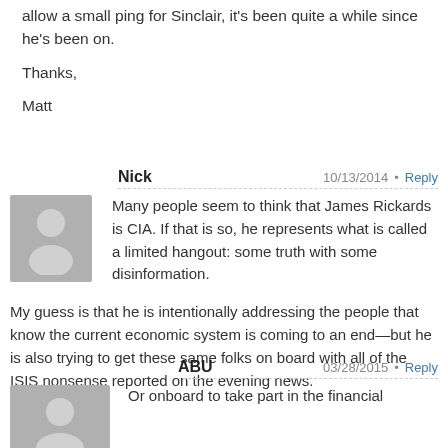allow a small ping for Sinclair, it's been quite a while since he's been on.
Thanks,
Matt
Nick  10/13/2014 • Reply
Many people seem to think that James Rickards is CIA. If that is so, he represents what is called a limited hangout: some truth with some disinformation.

My guess is that he is intentionally addressing the people that know the current economic system is coming to an end—but he is also trying to get these same folks on board with all of the ISIS nonsense reported on the evening news.
ABU  03/28/2015 • Reply
Or onboard to take part in the financial